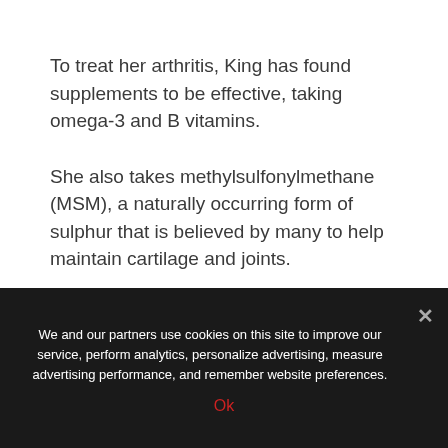To treat her arthritis, King has found supplements to be effective, taking omega-3 and B vitamins.
She also takes methylsulfonylmethane (MSM), a naturally occurring form of sulphur that is believed by many to help maintain cartilage and joints.
The star doesn't follow a special diet, but tries to eat a balanced one, and finds exercise really makes a difference.
We and our partners use cookies on this site to improve our service, perform analytics, personalize advertising, measure advertising performance, and remember website preferences.
Ok